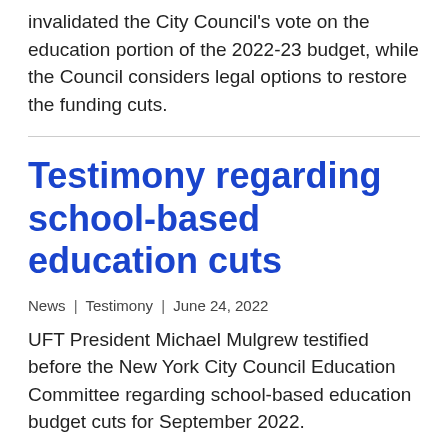invalidated the City Council's vote on the education portion of the 2022-23 budget, while the Council considers legal options to restore the funding cuts.
Testimony regarding school-based education cuts
News | Testimony | June 24, 2022
UFT President Michael Mulgrew testified before the New York City Council Education Committee regarding school-based education budget cuts for September 2022.